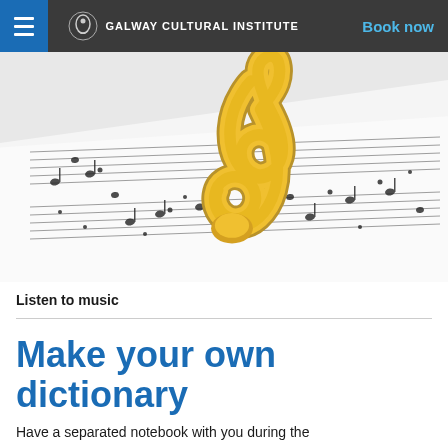GALWAY CULTURAL INSTITUTE | Book now
[Figure (photo): A golden treble clef resting on sheet music with musical notes, viewed at an angle against a light background.]
Listen to music
Make your own dictionary
Have a separated notebook with you during the